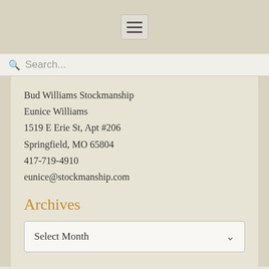[Figure (other): Hamburger menu icon (three horizontal lines) inside a rounded rectangle button]
Search...
Bud Williams Stockmanship
Eunice Williams
1519 E Erie St, Apt #206
Springfield, MO 65804
417-719-4910
eunice@stockmanship.com
Archives
Select Month
Author: Eunice